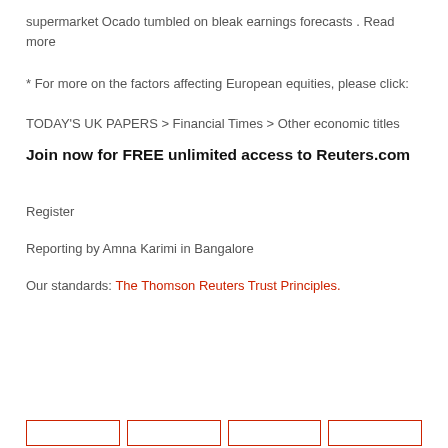supermarket Ocado tumbled on bleak earnings forecasts . Read more
* For more on the factors affecting European equities, please click:
TODAY'S UK PAPERS > Financial Times > Other economic titles
Join now for FREE unlimited access to Reuters.com
Register
Reporting by Amna Karimi in Bangalore
Our standards: The Thomson Reuters Trust Principles.